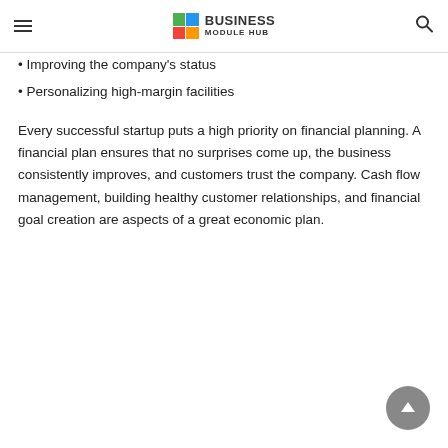BUSINESS MODULE HUB
• Improving the company's status
• Personalizing high-margin facilities
Every successful startup puts a high priority on financial planning. A financial plan ensures that no surprises come up, the business consistently improves, and customers trust the company. Cash flow management, building healthy customer relationships, and financial goal creation are aspects of a great economic plan.